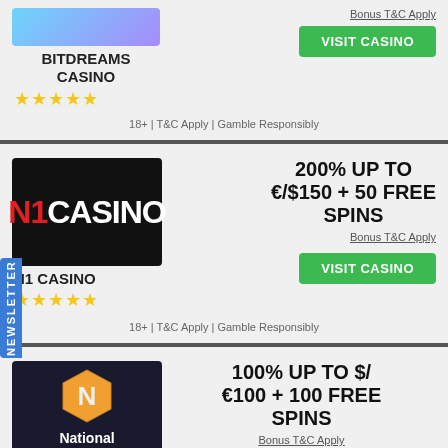[Figure (screenshot): BitDreams Casino logo with gradient blue/purple background]
Bonus T&C Apply
VISIT CASINO
BITDREAMS CASINO
★★★★★
18+ | T&C Apply | Gamble Responsibly
[Figure (logo): N1 Casino logo - black background with red N1 and white CASINO text]
200% UP TO €/$150 + 50 FREE SPINS
Bonus T&C Apply
N1 CASINO
★★★★★
VISIT CASINO
18+ | T&C Apply | Gamble Responsibly
[Figure (logo): National Casino logo - hexagon N symbol on dark background]
100% UP TO $/ €100 + 100 FREE SPINS
Bonus T&C Apply